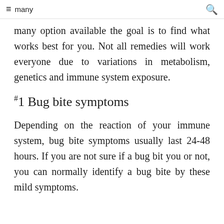≡ many option available the goal is to 🔍
many option available the goal is to find what works best for you. Not all remedies will work everyone due to variations in metabolism, genetics and immune system exposure.
#1 Bug bite symptoms
Depending on the reaction of your immune system, bug bite symptoms usually last 24-48 hours. If you are not sure if a bug bit you or not, you can normally identify a bug bite by these mild symptoms.